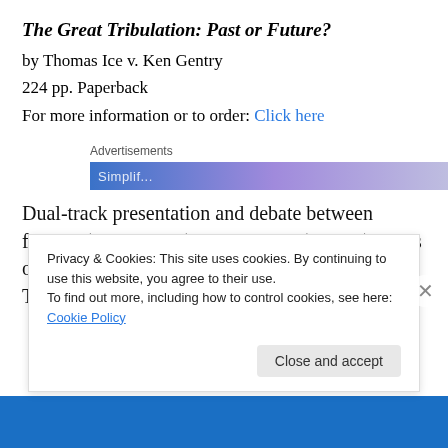The Great Tribulation: Past or Future?
by Thomas Ice v. Ken Gentry
224 pp. Paperback
For more information or to order: Click here
[Figure (other): Advertisements banner with blue-purple gradient]
Dual-track presentation and debate between futurist (Thomas Ice) and preterist (Gentry) views of the Great Tribulation. Each presenter offers a lengthy two chapter
Privacy & Cookies: This site uses cookies. By continuing to use this website, you agree to their use.
To find out more, including how to control cookies, see here: Cookie Policy
Close and accept